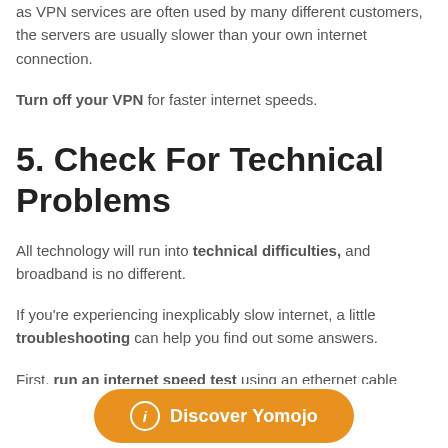as VPN services are often used by many different customers, the servers are usually slower than your own internet connection.
Turn off your VPN for faster internet speeds.
5. Check For Technical Problems
All technology will run into technical difficulties, and broadband is no different.
If you're experiencing inexplicably slow internet, a little troubleshooting can help you find out some answers.
First, run an internet speed test using an ethernet cable
[Figure (other): Orange CTA button with info icon reading 'Discover Yomojo']